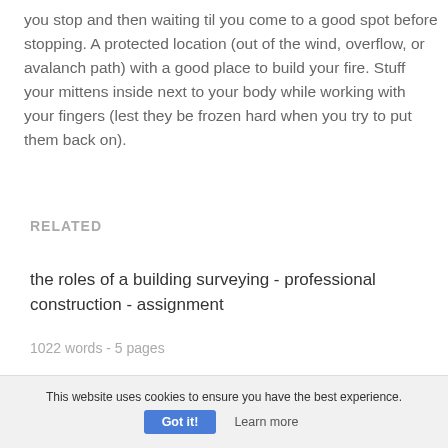you stop and then waiting til you come to a good spot before stopping. A protected location (out of the wind, overflow, or avalanch path) with a good place to build your fire. Stuff your mittens inside next to your body while working with your fingers (lest they be frozen hard when you try to put them back on).
RELATED
the roles of a building surveying - professional construction - assignment
1022 words - 5 pages
This website uses cookies to ensure you have the best experience. Got it! Learn more